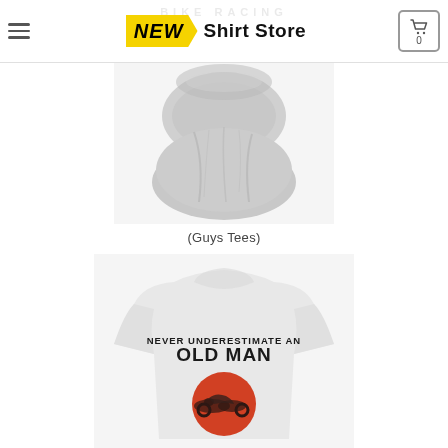NEW Shirt Store
[Figure (photo): Gray neck gaiter/tube scarf product photo on white background]
(Guys Tees)
[Figure (photo): White t-shirt with text 'NEVER UNDERESTIMATE AN OLD MAN' and a red circle graphic with motorbike racer silhouette]